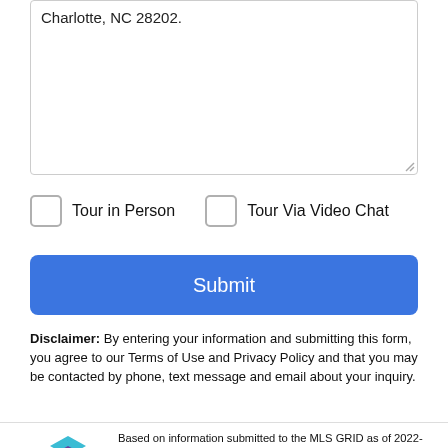Charlotte, NC 28202.
Tour in Person
Tour Via Video Chat
Submit
Disclaimer: By entering your information and submitting this form, you agree to our Terms of Use and Privacy Policy and that you may be contacted by phone, text message and email about your inquiry.
[Figure (logo): MLS GRID logo with stacked colored squares]
Based on information submitted to the MLS GRID as of 2022-08-22T14:33:42.01 UTC. All data is obtained from various sources and has not been, and will not be, verified by broker or MLS GRID.
Take a Tour
Ask A Question